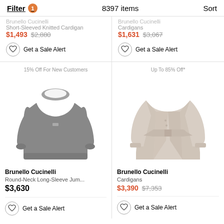Filter 1   8397 items   Sort
Brunello Cucinelli Short-Sleeved Knitted Cardigan $1,493 $2,880
Get a Sale Alert
Brunello Cucinelli Cardigans $1,631 $3,067
Get a Sale Alert
15% Off For New Customers
[Figure (photo): Grey round-neck long-sleeve knit jumper by Brunello Cucinelli]
Brunello Cucinelli Round-Neck Long-Sleeve Jum... $3,630
Get a Sale Alert
Up To 85% Off*
[Figure (photo): Beige belted wrap cardigan by Brunello Cucinelli]
Brunello Cucinelli Cardigans $3,390 $7,353
Get a Sale Alert